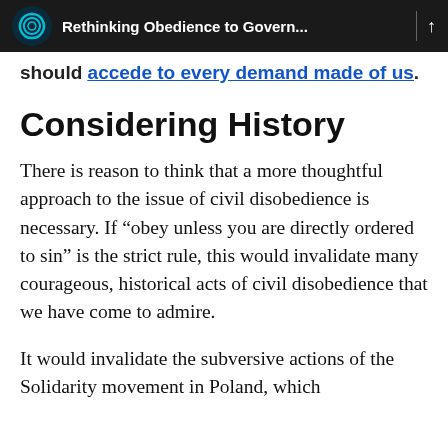Rethinking Obedience to Govern...
should accede to every demand made of us.
Considering History
There is reason to think that a more thoughtful approach to the issue of civil disobedience is necessary. If “obey unless you are directly ordered to sin” is the strict rule, this would invalidate many courageous, historical acts of civil disobedience that we have come to admire.
It would invalidate the subversive actions of the Solidarity movement in Poland, which